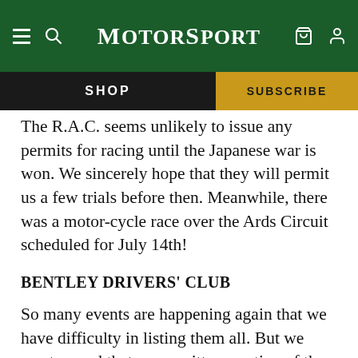MotorSport
The R.A.C. seems unlikely to issue any permits for racing until the Japanese war is won. We sincerely hope that they will permit us a few trials before then. Meanwhile, there was a motor-cycle race over the Ards Circuit scheduled for July 14th!
BENTLEY DRIVERS' CLUB
So many events are happening again that we have difficulty in listing them all. But we must record that a committee meeting of the Bentley Drivers' Club was due to be held at Forrest Lycett's house early last month. Those